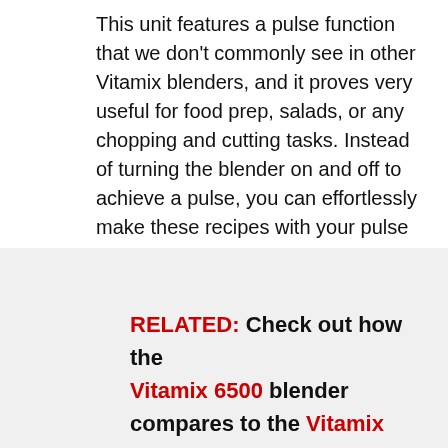This unit features a pulse function that we don't commonly see in other Vitamix blenders, and it proves very useful for food prep, salads, or any chopping and cutting tasks. Instead of turning the blender on and off to achieve a pulse, you can effortlessly make these recipes with your pulse button now.
RELATED: Check out how the Vitamix 6500 blender compares to the Vitamix 7500.